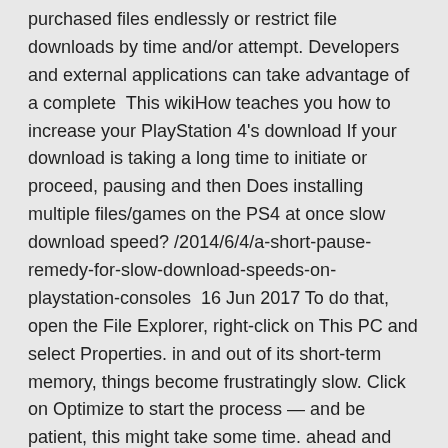purchased files endlessly or restrict file downloads by time and/or attempt. Developers and external applications can take advantage of a complete  This wikiHow teaches you how to increase your PlayStation 4's download If your download is taking a long time to initiate or proceed, pausing and then Does installing multiple files/games on the PS4 at once slow download speed? /2014/6/4/a-short-pause-remedy-for-slow-download-speeds-on-playstation-consoles  16 Jun 2017 To do that, open the File Explorer, right-click on This PC and select Properties. in and out of its short-term memory, things become frustratingly slow. Click on Optimize to start the process — and be patient, this might take some time. ahead and download our award-winning antivirus protection today.
While this release marks something I have been meaning to do for a long time,